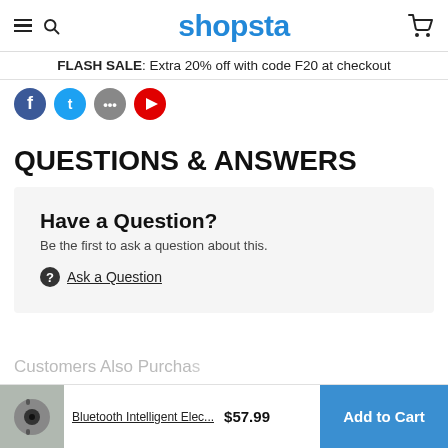shopsta
FLASH SALE: Extra 20% off with code F20 at checkout
QUESTIONS & ANSWERS
Have a Question?
Be the first to ask a question about this.
❓ Ask a Question
Bluetooth Intelligent Elec... $57.99 Add to Cart
Customers Also Purcha...